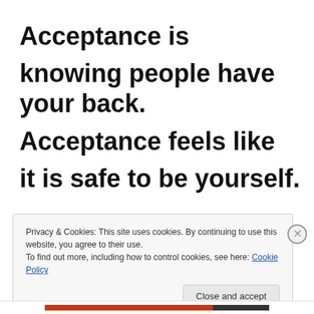Acceptance is
knowing people have your back.
Acceptance feels like
it is safe to be yourself.
Privacy & Cookies: This site uses cookies. By continuing to use this website, you agree to their use.
To find out more, including how to control cookies, see here: Cookie Policy
Close and accept